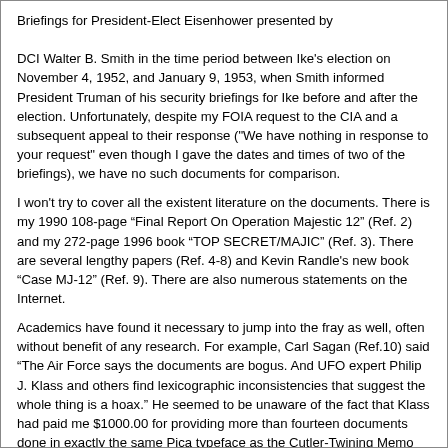Briefings for President-Elect Eisenhower presented by DCI Walter B. Smith in the time period between Ike's election on November 4, 1952, and January 9, 1953, when Smith informed President Truman of his security briefings for Ike before and after the election. Unfortunately, despite my FOIA request to the CIA and a subsequent appeal to their response ("We have nothing in response to your request" even though I gave the dates and times of two of the briefings), we have no such documents for comparison.
I won't try to cover all the existent literature on the documents. There is my 1990 108-page “Final Report On Operation Majestic 12” (Ref. 2) and my 272-page 1996 book “TOP SECRET/MAJIC” (Ref. 3). There are several lengthy papers (Ref. 4-8) and Kevin Randle's new book “Case MJ-12” (Ref. 9). There are also numerous statements on the Internet.
Academics have found it necessary to jump into the fray as well, often without benefit of any research. For example, Carl Sagan (Ref.10) said “The Air Force says the documents are bogus. And UFO expert Philip J. Klass and others find lexicographic inconsistencies that suggest the whole thing is a hoax.” He seemed to be unaware of the fact that Klass had paid me $1000.00 for providing more than fourteen documents done in exactly the same Pica typeface as the Cutler-Twining Memo though Klass, on the basis of nine Elite Typeface documents (obtained by him by mail, he had never been to the Ike Library) of the 250,000 pages of NSC material at the Ike Library, had insisted the CTM should have been done in Elite! Some lexicographic research! Our correspondence and a copy of his check to me are in Ref. 2.